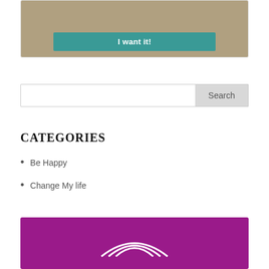[Figure (photo): Partial photo of a desk/laptop scene with a teal button labeled 'I want it!']
I want it!
[Figure (screenshot): Search bar with a text input and a Search button]
CATEGORIES
Be Happy
Change My life
[Figure (logo): Purple/magenta background with white arc logo mark at the bottom of the page]